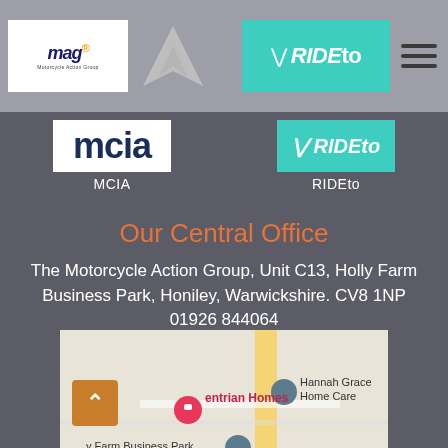MAG Motorcycle Action Group | RIDEto
[Figure (logo): MCIA logo - white box with blue MCIA text]
MCIA
[Figure (logo): RIDEto logo - teal box with white RIDEto text]
RIDEto
Our Central Office
The Motorcycle Action Group, Unit C13, Holly Farm Business Park, Honiley, Warwickshire. CV8 1NP
01926 844064
[Figure (map): Google Maps screenshot showing Holly Farm Business Park, Honiley area with markers for Hannah Grace Home Care, Limegate Industrial Flooring, and a pink marker for Equestrian Homes]